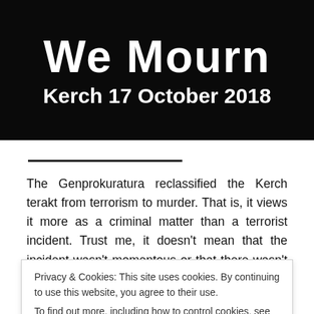[Figure (photo): Dark/black background banner image with white bold text reading 'We Mourn' and subtitle 'Kerch 17 October 2018']
The Genprokuratura reclassified the Kerch terakt from terrorism to murder. That is, it views it more as a criminal matter than a terrorist incident. Trust me, it doesn't mean that the incident wasn't momentous or that there wasn't a response. I'll say this, though… the security at the Kerch
Privacy & Cookies: This site uses cookies. By continuing to use this website, you agree to their use.
To find out more, including how to control cookies, see here: Cookie Policy
Close and accept